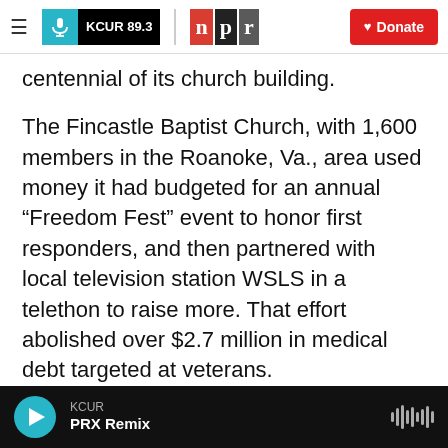KCUR 89.3 | npr | Donate
centennial of its church building.
The Fincastle Baptist Church, with 1,600 members in the Roanoke, Va., area used money it had budgeted for an annual “Freedom Fest” event to honor first responders, and then partnered with local television station WSLS in a telethon to raise more. That effort abolished over $2.7 million in medical debt targeted at veterans.
The RIP nonprofit allows donors to choose geographic areas they want to reach and can pinpoint veterans as recipients. But beyond that, no
KCUR / PRX Remix